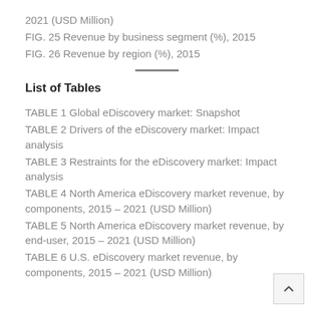2021 (USD Million)
FIG. 25 Revenue by business segment (%), 2015
FIG. 26 Revenue by region (%), 2015
List of Tables
TABLE 1 Global eDiscovery market: Snapshot
TABLE 2 Drivers of the eDiscovery market: Impact analysis
TABLE 3 Restraints for the eDiscovery market: Impact analysis
TABLE 4 North America eDiscovery market revenue, by components, 2015 – 2021 (USD Million)
TABLE 5 North America eDiscovery market revenue, by end-user, 2015 – 2021 (USD Million)
TABLE 6 U.S. eDiscovery market revenue, by components, 2015 – 2021 (USD Million)